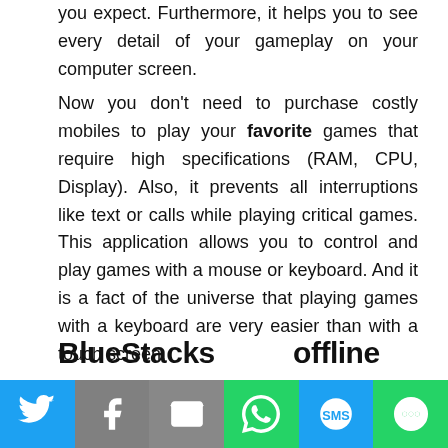you expect. Furthermore, it helps you to see every detail of your gameplay on your computer screen.
Now you don’t need to purchase costly mobiles to play your favorite games that require high specifications (RAM, CPU, Display). Also, it prevents all interruptions like text or calls while playing critical games. This application allows you to control and play games with a mouse or keyboard. And it is a fact of the universe that playing games with a keyboard are very easier than with a touch screen.
BlueStacks offline installer